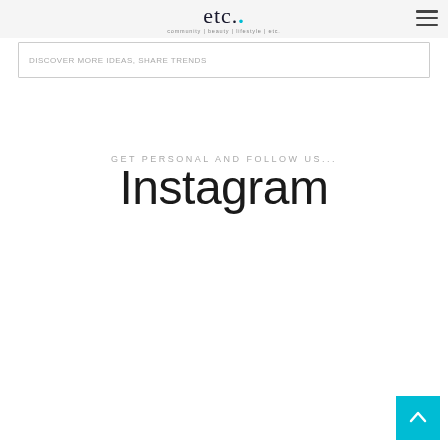etc. — community | beauty | lifestyle
DISCOVER MORE IDEAS, SHARE TRENDS
GET PERSONAL AND FOLLOW US...
Instagram